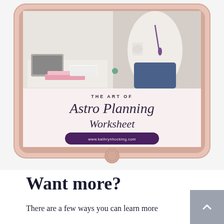[Figure (illustration): An iPad displaying the cover of 'The Art of Astro Planning Worksheet' by www.kathrynhocking.com. The iPad screen shows a photo of a woman in a white blouse and jeans holding a mug, with a pink and cream design showing the worksheet title in script and serif fonts, and a dark purple banner with the website URL at the bottom.]
Want more?
There are a few ways you can learn more